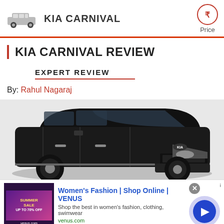KIA CARNIVAL
KIA CARNIVAL REVIEW
EXPERT REVIEW
By: Rahul Nagaraj
[Figure (photo): Black Kia Carnival MPV front three-quarter view]
[Figure (infographic): Advertisement: Women's Fashion | Shop Online | VENUS. Shop the best in women's fashion, clothing, swimwear. venus.com]